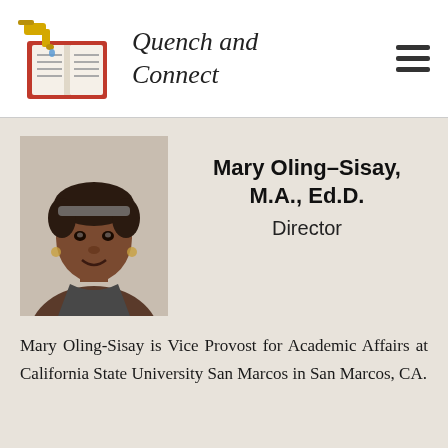Quench and Connect
[Figure (photo): Headshot photo of Mary Oling-Sisay]
Mary Oling-Sisay, M.A., Ed.D.
Director
Mary Oling-Sisay is Vice Provost for Academic Affairs at California State University San Marcos in San Marcos, CA.